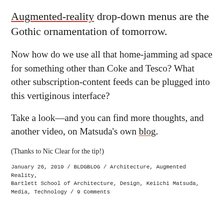Augmented-reality drop-down menus are the Gothic ornamentation of tomorrow.
Now how do we use all that home-jamming ad space for something other than Coke and Tesco? What other subscription-content feeds can be plugged into this vertiginous interface?
Take a look—and you can find more thoughts, and another video, on Matsuda's own blog.
(Thanks to Nic Clear for the tip!)
January 26, 2010 / BLDGBLOG / Architecture, Augmented Reality, Bartlett School of Architecture, Design, Keiichi Matsuda, Media, Technology / 9 Comments